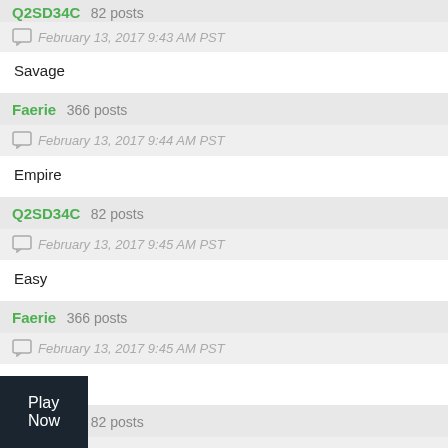Q2SD34C 82 posts
February 13, 2017 9:43 AM PST
Savage
Faerie 366 posts
February 13, 2017 9:44 AM PST
Empire
Q2SD34C 82 posts
February 13, 2017 9:45 AM PST
Easy
Faerie 366 posts
February 13, 2017 9:45 AM PST
Yellow
Q2SD34C 82 posts
February 13, 2017 9:46 AM PST
Play Now